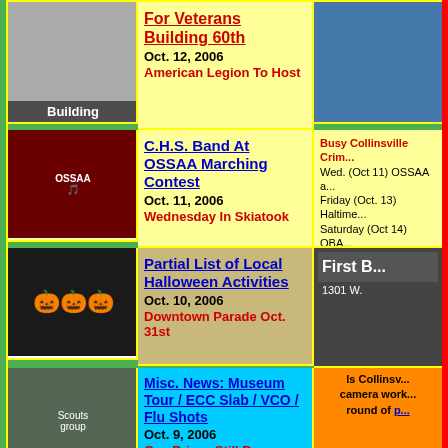[Figure (photo): Veterans Building black and white photo with 'Building' text overlay]
For Veterans Building 60th
Oct. 12, 2006
American Legion To Host
[Figure (photo): OSSAA marching band photo]
C.H.S. Band At OSSAA Marching Contest
Oct. 11, 2006
Wednesday In Skiatook
Busy Collinsville Crim... Wed. (Oct 11) OSSAA a... Friday (Oct. 13) Haltime... Saturday (Oct 14) OBA... Oct. 19-22 Bands of Am... (School Fall Break)
[Figure (photo): Halloween costume photo with pumpkin decorations]
Partial List of Local Halloween Activities
Oct. 10, 2006
Downtown Parade Oct. 31st
[Figure (photo): First B... partial ad image, 1301 W.]
[Figure (photo): Scouts group photo]
Misc. News: Museum Tour / ECC Slab / VCO / Flu Shots
Oct. 9, 2006
Gas Prices Still Down
Is Collinsv... camera work... round of p...
[Figure (photo): Miss Collinsville pageant photo]
Lisa Rutledge Crowned Miss Collinsville 2007
Oct. 7, 2006
Nine Contestants
Busy week ahead ... check the October event calendar
[Figure (photo): Youth Soccer Saturday photo with soccer banner]
Youth Soccer Saturday
5TH